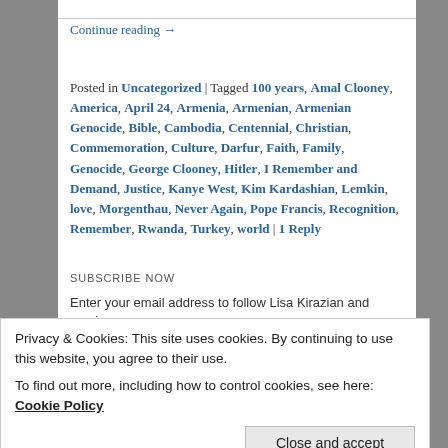Continue reading →
Posted in Uncategorized | Tagged 100 years, Amal Clooney, America, April 24, Armenia, Armenian, Armenian Genocide, Bible, Cambodia, Centennial, Christian, Commemoration, Culture, Darfur, Faith, Family, Genocide, George Clooney, Hitler, I Remember and Demand, Justice, Kanye West, Kim Kardashian, Lemkin, love, Morgenthau, Never Again, Pope Francis, Recognition, Remember, Rwanda, Turkey, world | 1 Reply
SUBSCRIBE NOW
Enter your email address to follow Lisa Kirazian and receive
Privacy & Cookies: This site uses cookies. By continuing to use this website, you agree to their use. To find out more, including how to control cookies, see here: Cookie Policy
Close and accept
Advertisements